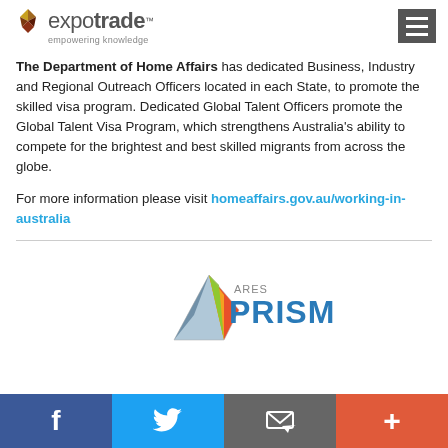expotrade™ — empowering knowledge
The Department of Home Affairs has dedicated Business, Industry and Regional Outreach Officers located in each State, to promote the skilled visa program. Dedicated Global Talent Officers promote the Global Talent Visa Program, which strengthens Australia's ability to compete for the brightest and best skilled migrants from across the globe.
For more information please visit homeaffairs.gov.au/working-in-australia
[Figure (logo): ARES PRISM logo with a colorful prism/pyramid graphic]
Social share bar: Facebook, Twitter, Email, More